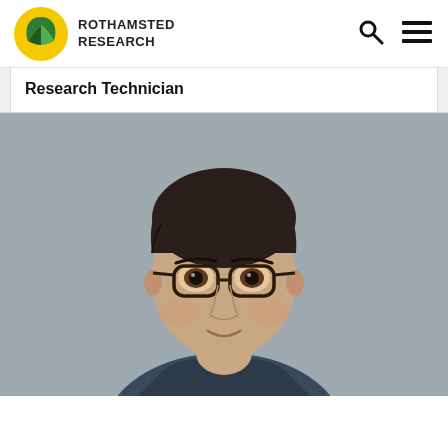ROTHAMSTED RESEARCH
Research Technician
[Figure (photo): Headshot portrait of a young man with dark hair and round glasses, wearing a dark navy shirt, smiling slightly against a grey background]